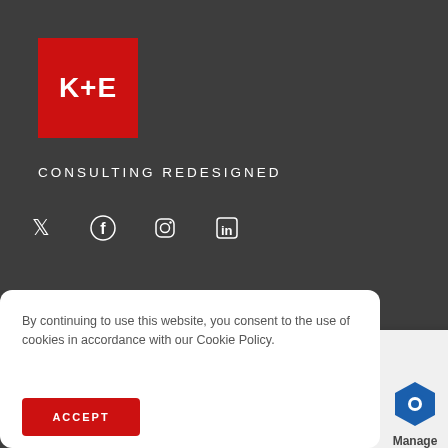[Figure (logo): K+E logo: white bold text 'K+E' on red square background]
CONSULTING REDESIGNED
[Figure (illustration): Social media icons: Twitter, Facebook, Instagram, LinkedIn in white on dark background]
By continuing to use this website, you consent to the use of cookies in accordance with our Cookie Policy.
ACCEPT
[Figure (logo): Manage cookie settings panel with blue hexagon logo and 'Manage' text on white/grey folded corner]